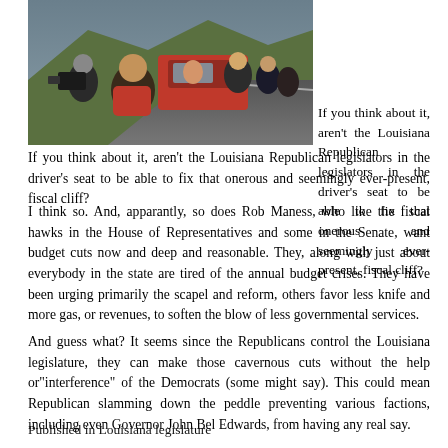[Figure (photo): A man speaking or being interviewed near a red vehicle on a road, surrounded by people and cameras.]
If you think about it, aren't the Louisiana Republican legislators in the driver's seat to be able to fix that onerous and seemingly ever-present, fiscal cliff?
I think so. And, apparantly, so does Rob Maness, who like the fiscal hawks in the House of Representatives and some in the Senate, want budget cuts now and deep and reasonable. They, along with just about everybody in the state are tired of the annual budget crises. They have been urging primarily the scapel and reform, others favor less knife and more gas, or revenues, to soften the blow of less governmental services.
And guess what? It seems since the Republicans control the Louisiana legislature, they can make those cavernous cuts without the help or"interference" of the Democrats (some might say). This could mean Republican slamming down the peddle preventing various factions, including even Governor John Bel Edwards, from having any real say.
Published in Louisiana legislature